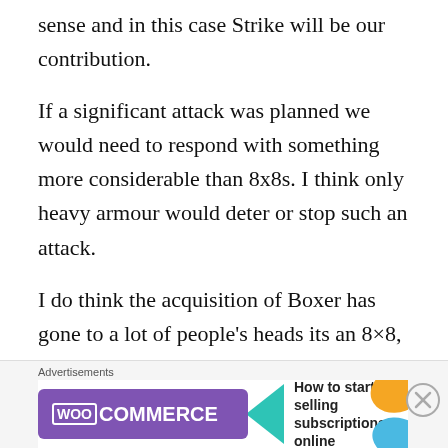sense and in this case Strike will be our contribution.
If a significant attack was planned we would need to respond with something more considerable than 8x8s. I think only heavy armour would deter or stop such an attack.
I do think the acquisition of Boxer has gone to a lot of people's heads its an 8×8, a good one, but an 8×8 none the less! The Germans have said 8×8 but continue to invest in Puma and leopard.
[Figure (other): WooCommerce advertisement banner: 'How to start selling subscriptions online']